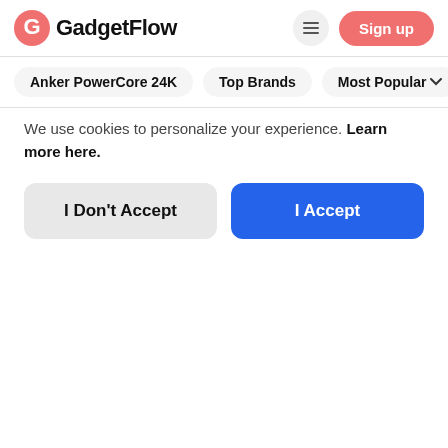GadgetFlow
Anker PowerCore 24K
Top Brands
Most Popular
[Figure (photo): Close-up photo of a dark-colored smartwatch or wearable device on an outdoor blurred background]
Cookie Notification
We use cookies to personalize your experience. Learn more here.
I Don't Accept
I Accept